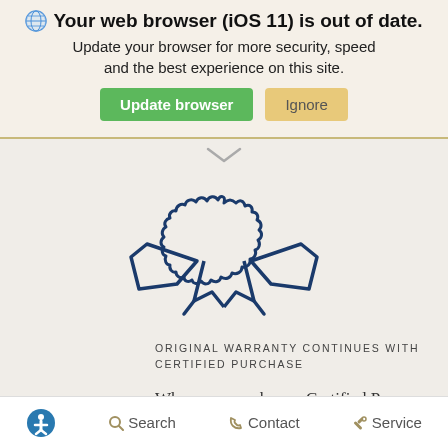Your web browser (iOS 11) is out of date.
Update your browser for more security, speed and the best experience on this site.
[Figure (illustration): Green 'Update browser' button and tan 'Ignore' button]
[Figure (illustration): Award ribbon / certified purchase icon in dark blue outline style]
ORIGINAL WARRANTY CONTINUES WITH CERTIFIED PURCHASE
When you purchase a Certified Pre-Owned
Accessibility icon | Search | Contact | Service